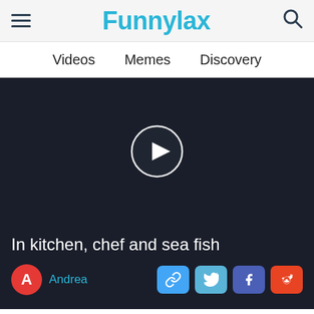Funnylax
Videos   Memes   Discovery
[Figure (screenshot): Dark video player area with a circular play button in the center on a dark navy background]
In kitchen, chef and sea fish
Andrea
[Figure (infographic): Social sharing buttons: link, Twitter, Facebook, Reddit]